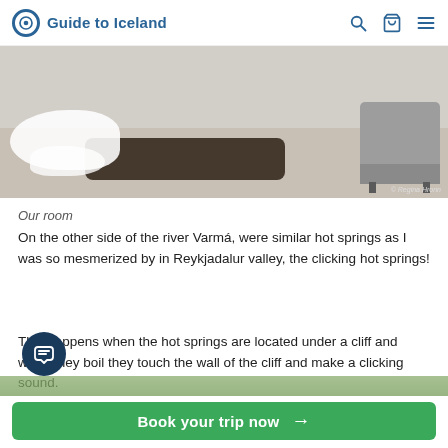Guide to Iceland
[Figure (photo): Interior hotel room photo showing white towels on the floor, a dark cowhide rug, and a grey armchair. Watermark: © Regina Hronn]
Our room
On the other side of the river Varmá, were similar hot springs as I was so mesmerized by in Reykjadalur valley, the clicking hot springs!
This happens when the hot springs are located under a cliff and when they boil they touch the wall of the cliff and make a clicking sound.